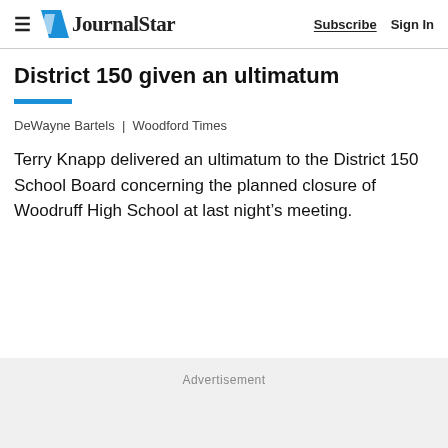Journal Star | Subscribe  Sign In
District 150 given an ultimatum
DeWayne Bartels  |  Woodford Times
Terry Knapp delivered an ultimatum to the District 150 School Board concerning the planned closure of Woodruff High School at last night’s meeting.
Advertisement